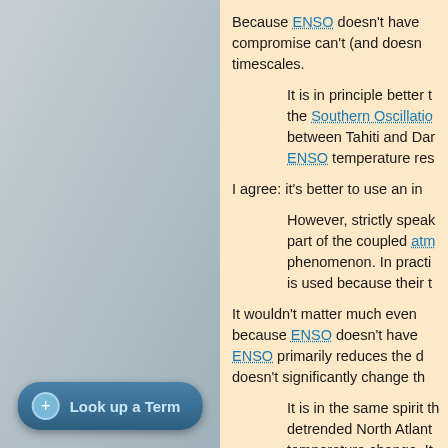Because ENSO doesn't have compromise can't (and doesn't timescales.
It is in principle better to the Southern Oscillation between Tahiti and Darwin. ENSO temperature response.
I agree: it's better to use an index
However, strictly speaking, part of the coupled atmosphere-ocean phenomenon. In practice, SOI is used because their time
It wouldn't matter much even because ENSO doesn't have ENSO primarily reduces the doesn't significantly change the
It is in the same spirit that detrended North Atlantic temperature change. It temperature being analyzed.
The AMO index is a seriously
[Figure (other): Left sidebar panel with blue-grey background and a 'Look up a Term' button at the bottom]